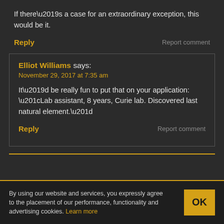If there’s a case for an extraordinary exception, this would be it.
Reply
Report comment
Elliot Williams says:
November 29, 2017 at 7:35 am
It’d be really fun to put that on your application: “Lab assistant, 8 years, Curie lab. Discovered last natural element.”
Reply
Report comment
By using our website and services, you expressly agree to the placement of our performance, functionality and advertising cookies. Learn more